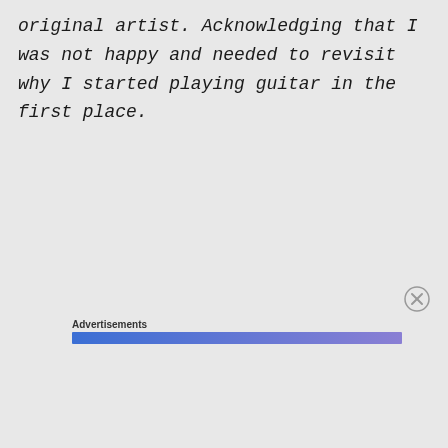original artist. Acknowledging that I was not happy and needed to revisit why I started playing guitar in the first place.
Advertisements